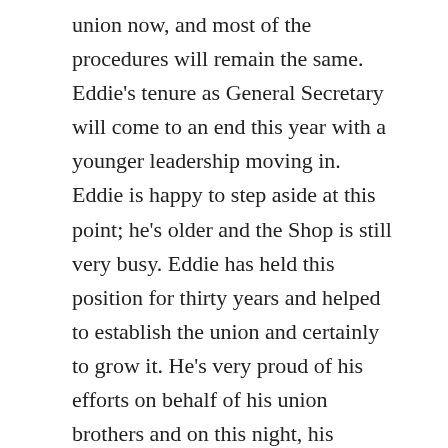union now, and most of the procedures will remain the same. Eddie's tenure as General Secretary will come to an end this year with a younger leadership moving in. Eddie is happy to step aside at this point; he's older and the Shop is still very busy. Eddie has held this position for thirty years and helped to establish the union and certainly to grow it. He's very proud of his efforts on behalf of his union brothers and on this night, his thoughts go back to how his involvement started. He had to actually quit working at the Joseph Kavanagh Company in order to force his father's hand, to make him unionize the Shop. It worked and has been a great benefit to the business and its employees. Eddie will remain a loyal member of the Sheet Metalworkers Union for the rest of his life. His son, Jack is a member and the thought did occur to Jack to throw his hat in the ring for one of the leadership roles, but he has...